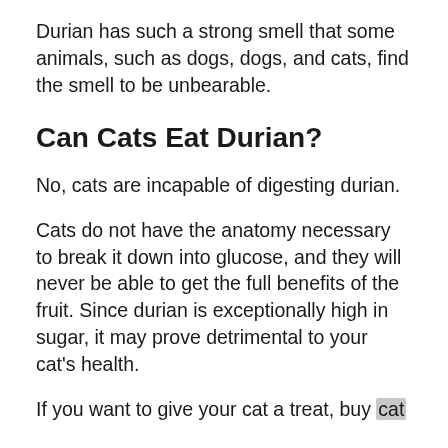Durian has such a strong smell that some animals, such as dogs, dogs, and cats, find the smell to be unbearable.
Can Cats Eat Durian?
No, cats are incapable of digesting durian.
Cats do not have the anatomy necessary to break it down into glucose, and they will never be able to get the full benefits of the fruit. Since durian is exceptionally high in sugar, it may prove detrimental to your cat's health.
If you want to give your cat a treat, buy cat